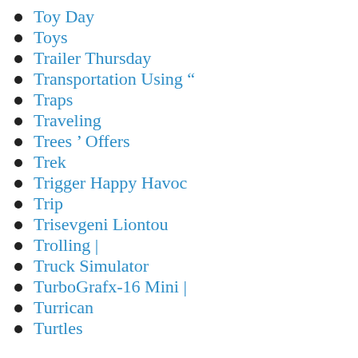Toy Day
Toys
Trailer Thursday
Transportation Using “
Traps
Traveling
Trees ’ Offers
Trek
Trigger Happy Havoc
Trip
Trisevgeni Liontou
Trolling |
Truck Simulator
TurboGrafx-16 Mini |
Turrican
Turtles